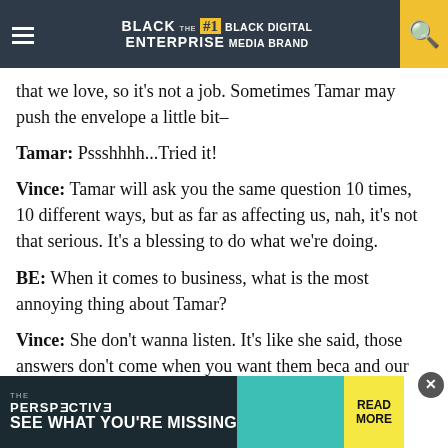BLACK ENTERPRISE THE #1 BLACK DIGITAL MEDIA BRAND
that we love, so it's not a job. Sometimes Tamar may push the envelope a little bit–
Tamar: Pssshhhh...Tried it!
Vince: Tamar will ask you the same question 10 times, 10 different ways, but as far as affecting us, nah, it's not that serious. It's a blessing to do what we're doing.
BE: When it comes to business, what is the most annoying thing about Tamar?
Vince: She don't wanna listen. It's like she said, those answers don't come when you want them beca and our
[Figure (screenshot): Advertisement banner for 'The Perspective' reading 'SEE WHAT YOU'RE MISSING' with a READ MORE button]